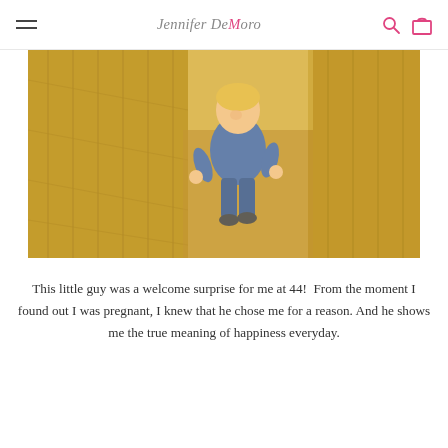Jennifer DeMoro
[Figure (photo): A smiling young blonde child running through hay bales outdoors, wearing a blue t-shirt. The background is stacks of golden hay bales.]
This little guy was a welcome surprise for me at 44!  From the moment I found out I was pregnant, I knew that he chose me for a reason. And he shows me the true meaning of happiness everyday.